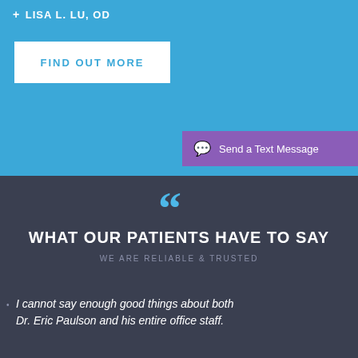+ LISA L. LU, OD
FIND OUT MORE
Send a Text Message
WHAT OUR PATIENTS HAVE TO SAY
WE ARE RELIABLE & TRUSTED
I cannot say enough good things about both Dr. Eric Paulson and his entire office staff.